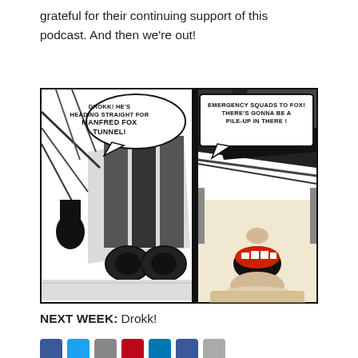grateful for their continuing support of this podcast.  And then we're out!
[Figure (illustration): Black and white comic book panels. Left panel shows a vehicle heading toward Manfred Fox Tunnel with speech bubble: 'DROKK! HE'S HEADING STRAIGHT FOR MANFRED FOX TUNNEL!' Right panel shows a close-up of a character's face shouting with speech bubble: 'EMERGENCY SQUADS TO FOX! THERE'S GONNA BE A PILE-UP IN THERE!']
NEXT WEEK:  Drokk!